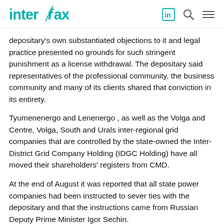Interfax
depositary's own substantiated objections to it and legal practice presented no grounds for such stringent punishment as a license withdrawal. The depositary said representatives of the professional community, the business community and many of its clients shared that conviction in its entirety.
Tyumenenergo and Lenenergo , as well as the Volga and Centre, Volga, South and Urals inter-regional grid companies that are controlled by the state-owned the Inter-District Grid Company Holding (IDGC Holding) have all moved their shareholders' registers from CMD.
At the end of August it was reported that all state power companies had been instructed to sever ties with the depositary and that the instructions came from Russian Deputy Prime Minister Igor Sechin.
Two privately owned generating companies - the Sintez Group's TGK-2 and E.ON's OGK-4 have also dispensed with the depositary's services.